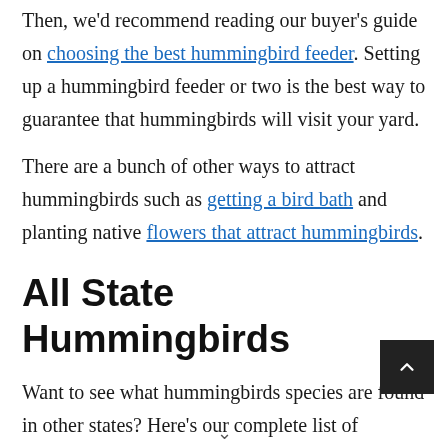Then, we'd recommend reading our buyer's guide on choosing the best hummingbird feeder. Setting up a hummingbird feeder or two is the best way to guarantee that hummingbirds will visit your yard.
There are a bunch of other ways to attract hummingbirds such as getting a bird bath and planting native flowers that attract hummingbirds.
All State Hummingbirds
Want to see what hummingbirds species are found in other states? Here's our complete list of